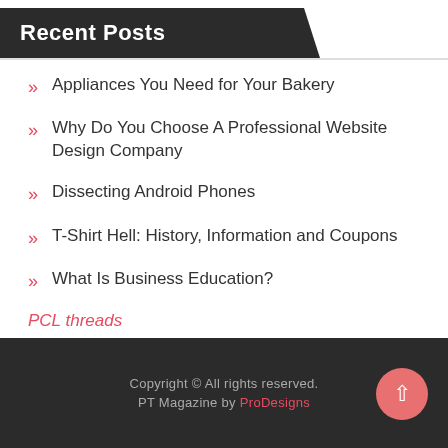Recent Posts
Appliances You Need for Your Bakery
Why Do You Choose A Professional Website Design Company
Dissecting Android Phones
T-Shirt Hell: History, Information and Coupons
What Is Business Education?
PCL threads
Copyright © All rights reserved. PT Magazine by ProDesigns